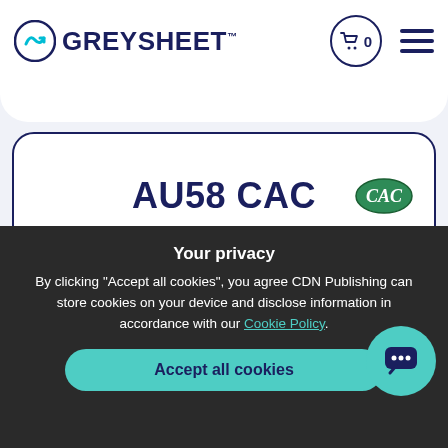GREYSHEET
AU58 CAC
Sign in to see pricing
Your privacy
By clicking "Accept all cookies", you agree CDN Publishing can store cookies on your device and disclose information in accordance with our Cookie Policy.
Accept all cookies